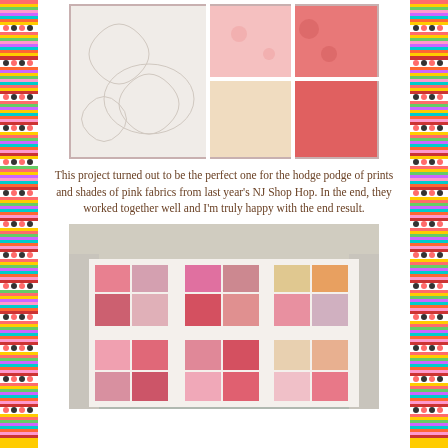[Figure (photo): Close-up photograph of a pink patchwork quilt showing various pink fabric prints and white quilting patterns]
This project turned out to be the perfect one for the hodge podge of prints and shades of pink fabrics from last year's NJ Shop Hop. In the end, they worked together well and I'm truly happy with the end result.
[Figure (photo): Photograph of a finished pink patchwork quilt hanging outside, showing multiple quilt blocks with various pink and white fabric prints arranged in a grid pattern]